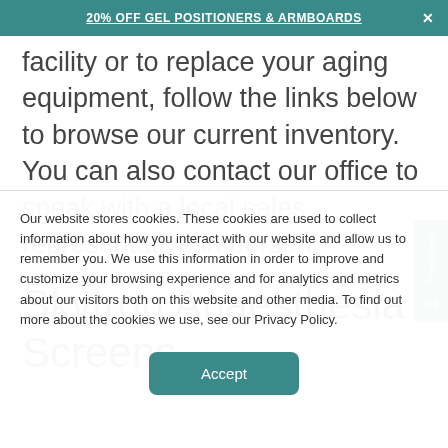20% OFF GEL POSITIONERS & ARMBOARDS
facility or to replace your aging equipment, follow the links below to browse our current inventory. You can also contact our office to speak with a local sales representative in person.
Skytron Anaesthesia Screens
Our website stores cookies. These cookies are used to collect information about how you interact with our website and allow us to remember you. We use this information in order to improve and customize your browsing experience and for analytics and metrics about our visitors both on this website and other media. To find out more about the cookies we use, see our Privacy Policy.